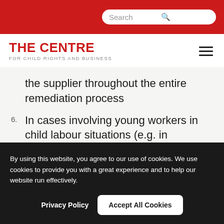Search
[Figure (logo): The Centre for Child Rights and Business logo with red text and hamburger menu icon]
the supplier throughout the entire remediation process
6. In cases involving young workers in child labour situations (e.g. in hazardous work, or working excessive hours and night
By using this website, you agree to our use of cookies. We use cookies to provide you with a great experience and to help our website run effectively.
Privacy Policy   Accept All Cookies